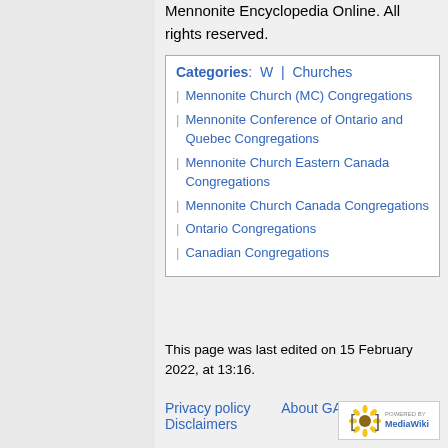Mennonite Encyclopedia Online. All rights reserved.
Categories: W | Churches
| Mennonite Church (MC) Congregations
| Mennonite Conference of Ontario and Quebec Congregations
| Mennonite Church Eastern Canada Congregations
| Mennonite Church Canada Congregations
| Ontario Congregations
| Canadian Congregations
This page was last edited on 15 February 2022, at 13:16.
Privacy policy   About GAMEO   Disclaimers